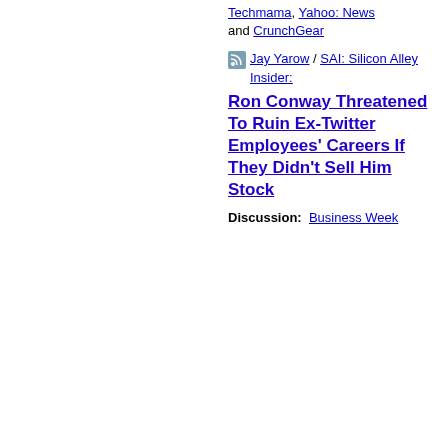Techmama, Yahoo: News and CrunchGear
Jay Yarow / SAI: Silicon Alley Insider:
Ron Conway Threatened To Ruin Ex-Twitter Employees' Careers If They Didn't Sell Him Stock
Discussion: Business Week
FROM MEDIAGAZER:
SISTER SITES:
Calder McHugh / Politico: A profile of Jelani Cobb, the Columbia Journalism School's new dean, as some say journalism schools feel slightly anachronistic and students worry about debt
Joe Flint / Wall Street Journal: Sources: NBC has discussed giving the 10pm hour to local TV stations to program every day as a cost-cutting move, given broadcast TV's declining popularity
[Figure (logo): Mediagazer logo - mg red square]
Mediagazer Must-read media news
[Figure (logo): memeorandum logo - purple m]
memeorandum Politics, opinion, and current events
[Figure (logo): WeSmirch logo - cursive w]
WeSmirch Celebrity news and gossip